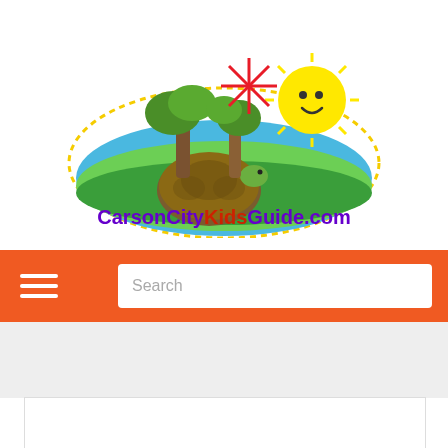[Figure (logo): Carson City Kids Guide logo with turtle, trees, sun, and text 'CarsonCityKidsGuide.com' on an oval blue/green background with yellow dots border and red star]
Carson City's Family Guide
[Figure (logo): Kids Scoop logo with colorful 'kids' in multicolor and 'Scoop' in dark blue text]
Subscribe to :
Carson City Events, Coupons, Reviews!
[Figure (screenshot): Orange navigation bar with hamburger menu icon and search box]